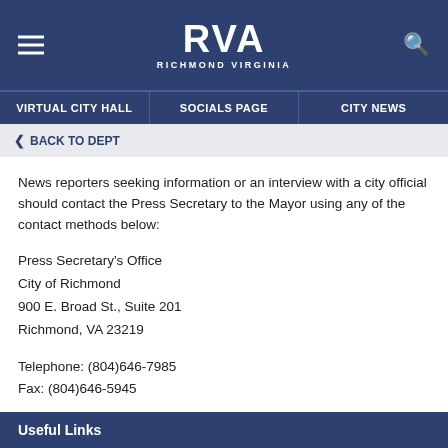[Figure (logo): RVA Richmond Virginia city logo in white on dark navy blue header, with hamburger menu icon on left and search icon on right]
VIRTUAL CITY HALL  |  SOCIALS PAGE  |  CITY NEWS
< BACK TO DEPT
News reporters seeking information or an interview with a city official should contact the Press Secretary to the Mayor using any of the contact methods below:

Press Secretary's Office
City of Richmond
900 E. Broad St., Suite 201
Richmond, VA 23219

Telephone: (804)646-7985
Fax: (804)646-5945
Useful Links